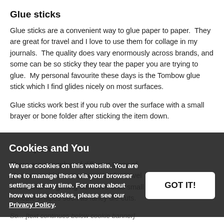Glue sticks
Glue sticks are a convenient way to glue paper to paper.  They are great for travel and I love to use them for collage in my journals.  The quality does vary enormously across brands, and some can be so sticky they tear the paper you are trying to glue.  My personal favourite these days is the Tombow glue stick which I find glides nicely on most surfaces.
Glue sticks work best if you rub over the surface with a small brayer or bone folder after sticking the item down.
Glue pens
There are a number of different types of glue pens which are convenient for travel and useful for getting adhesive onto small intricate shapes such as fancy die cuts.
So... [partially obscured by cookie banner] ...reservoir of glue which is dispensed via
Cookies and You
We use cookies on this website. You are free to manage these via your browser settings at any time. For more about how we use cookies, please see our Privacy Policy.